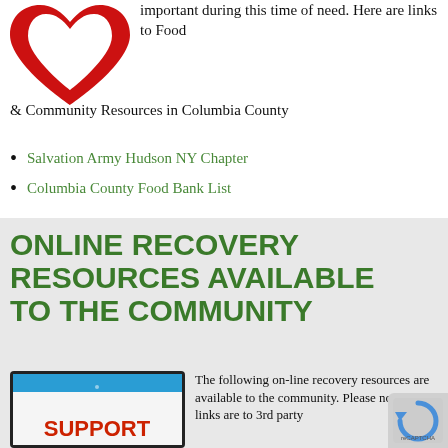[Figure (logo): Red and white heart-shaped logo at top left]
important during this time of need.  Here are links to Food & Community Resources in Columbia County
Salvation Army Hudson NY Chapter
Columbia County Food Bank List
ONLINE RECOVERY RESOURCES AVAILABLE TO THE COMMUNITY
[Figure (screenshot): Tablet/phone device image showing 'SUPPORT' text in red on orange background with blue header]
The following on-line recovery resources are available to the community.  Please note these links are to 3rd party